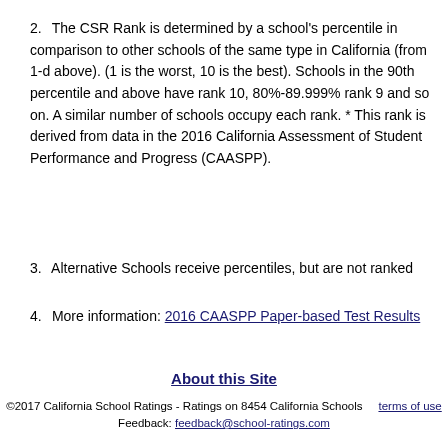2. The CSR Rank is determined by a school's percentile in comparison to other schools of the same type in California (from 1-d above). (1 is the worst, 10 is the best). Schools in the 90th percentile and above have rank 10, 80%-89.999% rank 9 and so on. A similar number of schools occupy each rank. * This rank is derived from data in the 2016 California Assessment of Student Performance and Progress (CAASPP).
3. Alternative Schools receive percentiles, but are not ranked
4. More information: 2016 CAASPP Paper-based Test Results
About this Site
©2017 California School Ratings - Ratings on 8454 California Schools     terms of use
Feedback: feedback@school-ratings.com